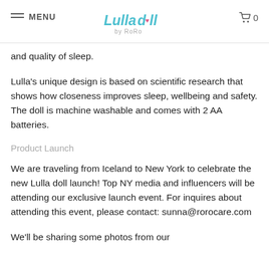MENU | Lulla doll by RoRo | 0
and quality of sleep.
Lulla's unique design is based on scientific research that shows how closeness improves sleep, wellbeing and safety. The doll is machine washable and comes with 2 AA batteries.
Product Launch
We are traveling from Iceland to New York to celebrate the new Lulla doll launch! Top NY media and influencers will be attending our exclusive launch event. For inquires about attending this event, please contact: sunna@rorocare.com
We'll be sharing some photos from our